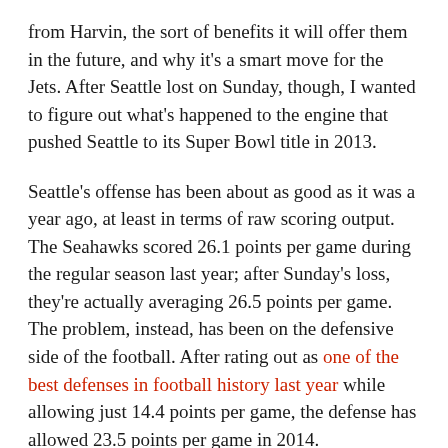from Harvin, the sort of benefits it will offer them in the future, and why it's a smart move for the Jets. After Seattle lost on Sunday, though, I wanted to figure out what's happened to the engine that pushed Seattle to its Super Bowl title in 2013.
Seattle's offense has been about as good as it was a year ago, at least in terms of raw scoring output. The Seahawks scored 26.1 points per game during the regular season last year; after Sunday's loss, they're actually averaging 26.5 points per game. The problem, instead, has been on the defensive side of the football. After rating out as one of the best defenses in football history last year while allowing just 14.4 points per game, the defense has allowed 23.5 points per game in 2014.
Why has the defense fallen off? I can identify four key issues